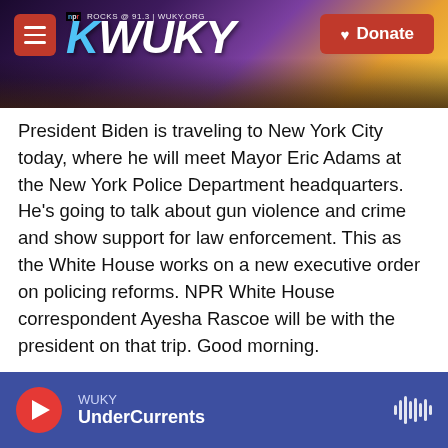[Figure (screenshot): WUKY NPR radio station website header banner with hamburger menu, WUKY logo, and Donate button over a sunset landscape background]
President Biden is traveling to New York City today, where he will meet Mayor Eric Adams at the New York Police Department headquarters. He's going to talk about gun violence and crime and show support for law enforcement. This as the White House works on a new executive order on policing reforms. NPR White House correspondent Ayesha Rascoe will be with the president on that trip. Good morning.
AYESHA RASCOE, BYLINE: Good morning.
INSKEEP: Hey, it's the president's first time meeting
WUKY UnderCurrents